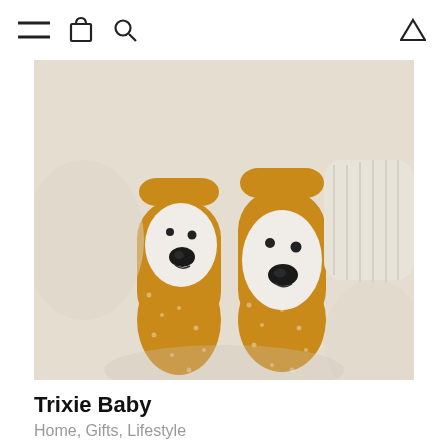Navigation bar with menu, cart, search, and triangle icons
[Figure (photo): Close-up photo of a child's feet wearing mustard yellow animal-face socks with a white lion/bear face design with black nose, on a cream textured surface. The child is also wearing a cream knit sweater.]
Trixie Baby
Home, Gifts, Lifestyle